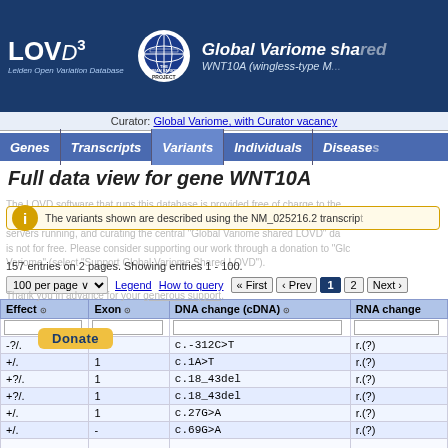LOVD3 | Global Variome shared LOVD | WNT10A (wingless-type M...)
Curator: Global Variome, with Curator vacancy
Full data view for gene WNT10A
The LOVD software that runs this database is provided free of charge to the scientific community. However, creating and maintaining the software, keeping servers running, and curating the central "Global Variome shared LOVD" database is not for free. Please consider supporting our work through a donation to "Global Variome" (select "Support Global Variome Shared LOVD").
The variants shown are described using the NM_025216.2 transcript
157 entries on 2 pages. Showing entries 1 - 100.
| Effect | Exon | DNA change (cDNA) | RNA change |
| --- | --- | --- | --- |
| -?/. | - | c.-312C>T | r.(?) |
| +/. | 1 | c.1A>T | r.(?) |
| +?/. | 1 | c.18_43del | r.(?) |
| +?/. | 1 | c.18_43del | r.(?) |
| +/. | 1 | c.27G>A | r.(?) |
| +/. | - | c.69G>A | r.(?) |
|  |  |  |  |
| +?/. | 1 | c.86T>G | r.(?) |
| +?/. | 1 | c.92T>A | r.(?) |
| +/. | 1 | c.103_104insGCCTGCT | r.(?) |
| -?/. | - | c.208C>T | r.(?) |
|  |  |  |  |
| ?/. | - | c.212A>T | r.(?) |